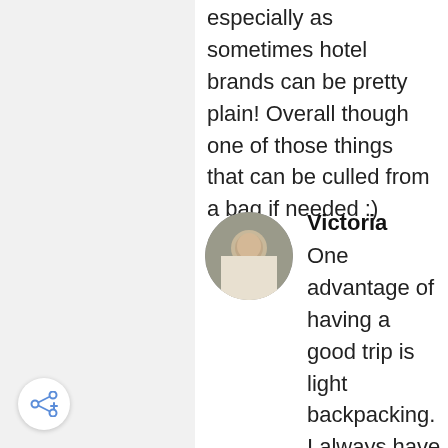especially as sometimes hotel brands can be pretty plain! Overall though one of those things that can be culled from a bag if needed :)
[Figure (photo): Circular avatar photo of a person (Victoria) outdoors]
Victoria
One advantage of having a good trip is light backpacking. I always have a lightweight backpack. Also, the stuff which are brought along are important also. They should be all must-have items. I am looking for a fashionable one in pink.
[Figure (other): Share button icon in bottom left corner]